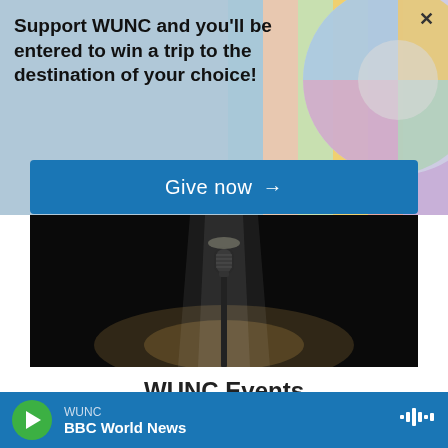Support WUNC and you'll be entered to win a trip to the destination of your choice!
Give now →
[Figure (photo): Microphone on a stand lit by a spotlight against a dark black background]
WUNC Events
Discuss North Carolina politics. Analyze how and why you love the way you do. Quiz yourself on Black history. Hear poetry from NC's poet laureate. Meet NPR hosts and reporters. You never know where WUNC's events will take you. Join us for this
WUNC BBC World News